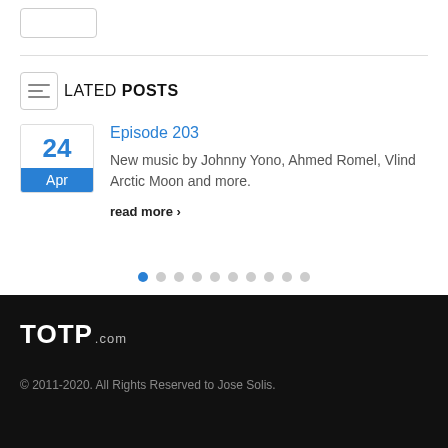LATED POSTS
Episode 203
New music by Johnny Yono, Ahmed Romel, Vlind Arctic Moon and more.
read more ›
TOTP.com
© 2011-2020. All Rights Reserved to Jose Solis.